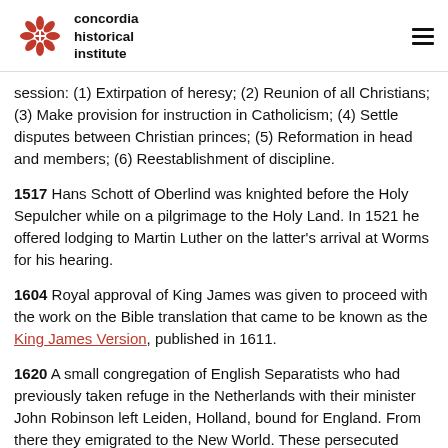concordia historical institute
session: (1) Extirpation of heresy; (2) Reunion of all Christians; (3) Make provision for instruction in Catholicism; (4) Settle disputes between Christian princes; (5) Reformation in head and members; (6) Reestablishment of discipline.
1517 Hans Schott of Oberlind was knighted before the Holy Sepulcher while on a pilgrimage to the Holy Land. In 1521 he offered lodging to Martin Luther on the latter's arrival at Worms for his hearing.
1604 Royal approval of King James was given to proceed with the work on the Bible translation that came to be known as the King James Version, published in 1611.
1620 A small congregation of English Separatists who had previously taken refuge in the Netherlands with their minister John Robinson left Leiden, Holland, bound for England. From there they emigrated to the New World. These persecuted religious emigrants are generally known as the Pilgrims.